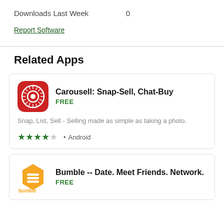Downloads Last Week    0
Report Software
Related Apps
[Figure (screenshot): App card for Carousell: Snap-Sell, Chat-Buy. Red rounded square icon with a white circular design. Name in bold, FREE in green. Description: Snap, List, Sell - Selling made as simple as taking a photo. 3.5 star rating, Android.]
[Figure (screenshot): App card for Bumble -- Date. Meet Friends. Network. Yellow hexagon icon with bumble logo. Name in bold, FREE in green.]